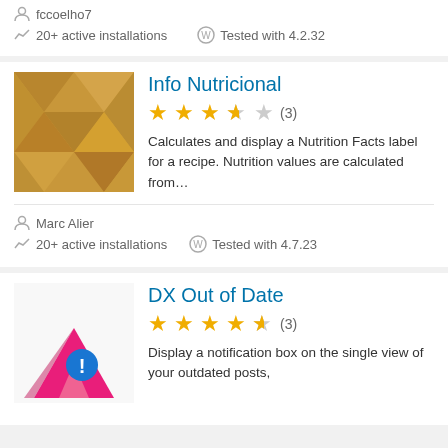fccoelho7
20+ active installations
Tested with 4.2.32
Info Nutricional
[Figure (illustration): Geometric polygon thumbnail in brown/tan tones]
3.5 stars (3)
Calculates and display a Nutrition Facts label for a recipe. Nutrition values are calculated from...
Marc Alier
20+ active installations
Tested with 4.7.23
DX Out of Date
[Figure (logo): Pink/magenta triangle logo with blue exclamation badge]
4.5 stars (3)
Display a notification box on the single view of your outdated posts,